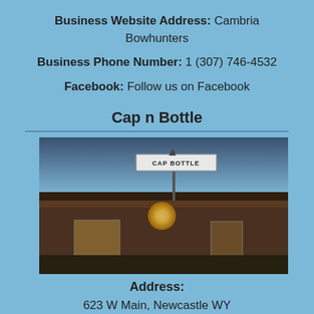Business Website Address: Cambria Bowhunters
Business Phone Number: 1 (307) 746-4532
Facebook: Follow us on Facebook
Cap n Bottle
[Figure (photo): Exterior night photo of Cap n Bottle store with illuminated sign and building]
Address:
623 W Main, Newcastle WY